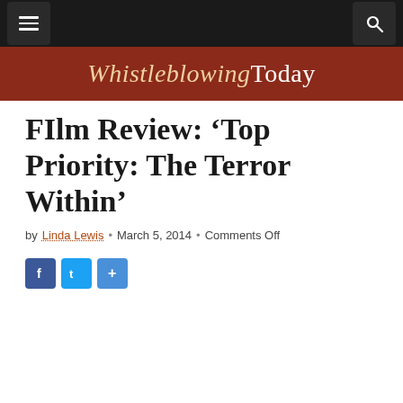Whistleblowing Today — navigation bar
FIlm Review: ‘Top Priority: The Terror Within’
by Linda Lewis • March 5, 2014 • Comments Off
[Figure (other): Social share buttons: Facebook, Twitter, Share]